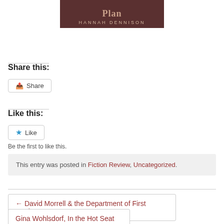[Figure (illustration): Book cover showing author name HANNAH DENNISON on a dark brownish-red background]
Share this:
Share button
Like this:
Like button
Be the first to like this.
This entry was posted in Fiction Review, Uncategorized.
← David Morrell & the Department of First Stories
Gina Wohlsdorf, In the Hot Seat →